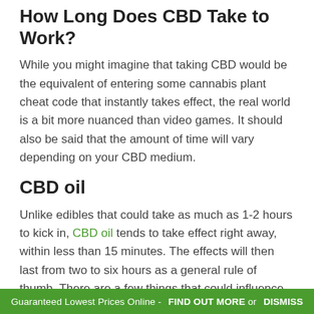How Long Does CBD Take to Work?
While you might imagine that taking CBD would be the equivalent of entering some cannabis plant cheat code that instantly takes effect, the real world is a bit more nuanced than video games. It should also be said that the amount of time will vary depending on your CBD medium.
CBD oil
Unlike edibles that could take as much as 1-2 hours to kick in, CBD oil tends to take effect right away, within less than 15 minutes. The effects will then last from two to six hours as a general rule of thumb. There are a few things that could influence this though.
How much you took, how you took it, and what your body weight is, will all play a role in how long-lasting the effects of
Guaranteed Lowest Prices Online -  FIND OUT MORE or  DISMISS